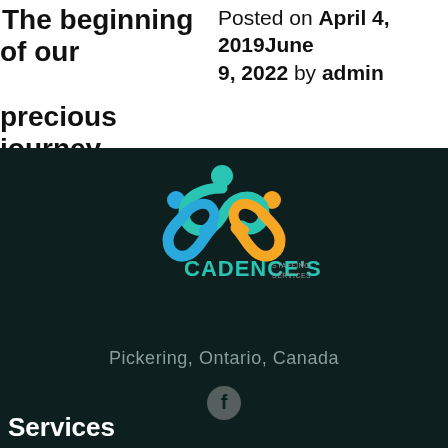The beginning of our precious journey
Posted on April 4, 2019June 9, 2022 by admin
[Figure (logo): Cadence's Staffing Services logo with colorful infinity-style figures and text]
Pickering, Ontario, Canada
[Figure (illustration): Facebook social media icon (circular grey Facebook logo)]
Services